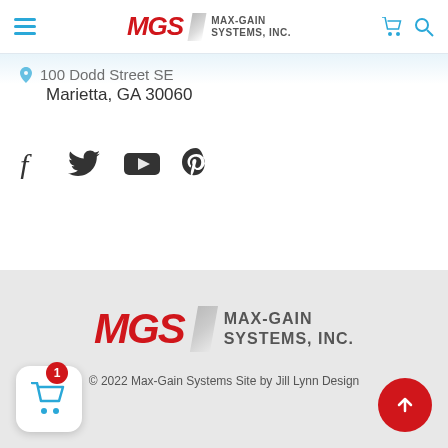MGS MAX-GAIN SYSTEMS, INC. navigation bar
100 Dodd Street SE
Marietta, GA 30060
[Figure (illustration): Social media icons: Facebook, Twitter, YouTube, Pinterest]
[Figure (logo): MGS MAX-GAIN SYSTEMS, INC. logo in footer]
© 2022 Max-Gain Systems Site by Jill Lynn Design